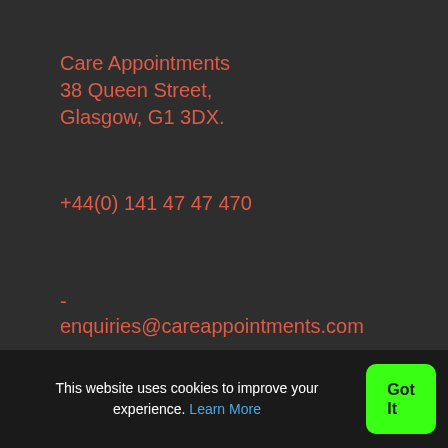Care Appointments
38 Queen Street,
Glasgow, G1 3DX.
+44(0) 141 47 47 470
- enquiries@careappointments.com
For Candidates
Browse Jobs
Submit CV
Candidate Dashboard
This website uses cookies to improve your experience. Learn More